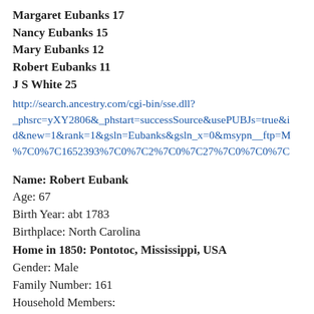Margaret Eubanks 17
Nancy Eubanks 15
Mary Eubanks 12
Robert Eubanks 11
J S White 25
http://search.ancestry.com/cgi-bin/sse.dll?_phsrc=yXY2806&_phstart=successSource&usePUBJs=true&id&new=1&rank=1&gsln=Eubanks&gsln_x=0&msypn__ftp=M%7C0%7C1652393%7C0%7C2%7C0%7C27%7C0%7C0%7C
Name: Robert Eubank
Age: 67
Birth Year: abt 1783
Birthplace: North Carolina
Home in 1850: Pontotoc, Mississippi, USA
Gender: Male
Family Number: 161
Household Members:
Name Age